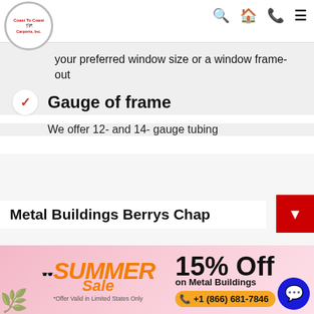Coast To Coast Carports, Inc. — navigation header
your preferred window size or a window frame-out
Gauge of frame
We offer 12- and 14- gauge tubing
Metal Buildings Berrys Chap...
[Figure (infographic): Summer Sale ad banner: SUMMER Sale 15% Off on Metal Buildings *Offer Valid in Limited States Only, phone +1 (866) 681-7846]